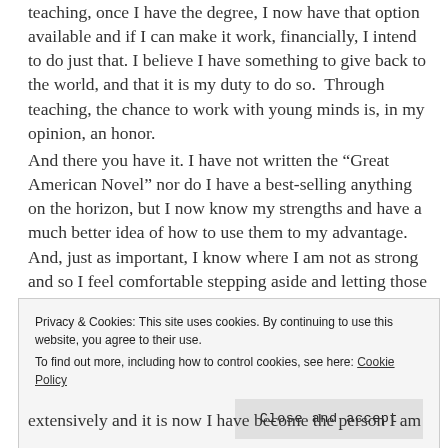teaching, once I have the degree, I now have that option available and if I can make it work, financially, I intend to do just that. I believe I have something to give back to the world, and that it is my duty to do so.  Through teaching, the chance to work with young minds is, in my opinion, an honor.
And there you have it. I have not written the “Great American Novel” nor do I have a best-selling anything on the horizon, but I now know my strengths and have a much better idea of how to use them to my advantage. And, just as important, I know where I am not as strong and so I feel comfortable stepping aside and letting those who excel in those areas take the lead and shine.
Privacy & Cookies: This site uses cookies. By continuing to use this website, you agree to their use.
To find out more, including how to control cookies, see here: Cookie Policy
[Close and accept]
extensively and it is now I have become the person I am